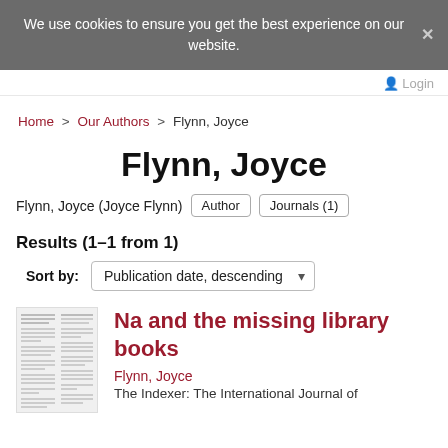We use cookies to ensure you get the best experience on our website.
Login
Home > Our Authors > Flynn, Joyce
Flynn, Joyce
Flynn, Joyce (Joyce Flynn)  Author  Journals (1)
Results (1–1 from 1)
Sort by: Publication date, descending
Na and the missing library books
Flynn, Joyce
The Indexer: The International Journal of